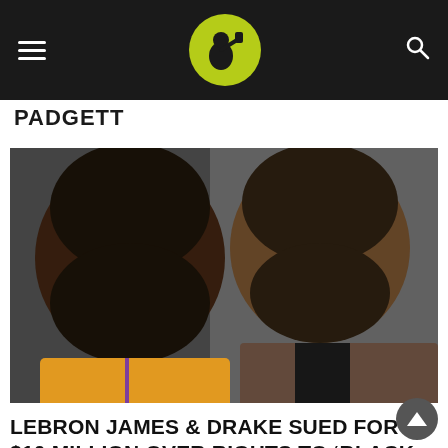Navigation bar with hamburger menu, logo (person drinking icon in yellow-green circle), and search icon
PADGETT
[Figure (photo): Photo of LeBron James (left, wearing yellow Lakers jersey, with beard, looking intensely) and Drake (right, wearing checkered blazer, with beard) side by side]
LEBRON JAMES & DRAKE SUED FOR $10 MILLION OVER RIGHTS TO 'BLACK ICE' HOCKEY FILM